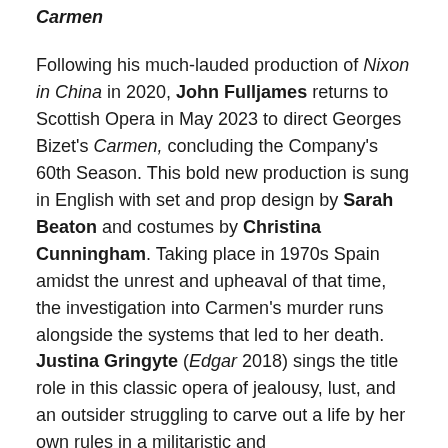Carmen
Following his much-lauded production of Nixon in China in 2020, John Fulljames returns to Scottish Opera in May 2023 to direct Georges Bizet’s Carmen, concluding the Company’s 60th Season. This bold new production is sung in English with set and prop design by Sarah Beaton and costumes by Christina Cunningham. Taking place in 1970s Spain amidst the unrest and upheaval of that time, the investigation into Carmen’s murder runs alongside the systems that led to her death.
Justina Gringyte (Edgar 2018) sings the title role in this classic opera of jealousy, lust, and an outsider struggling to carve out a life by her own rules in a militaristic and